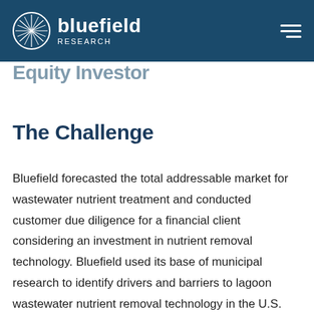bluefield RESEARCH
Equity Investor
The Challenge
Bluefield forecasted the total addressable market for wastewater nutrient treatment and conducted customer due diligence for a financial client considering an investment in nutrient removal technology. Bluefield used its base of municipal research to identify drivers and barriers to lagoon wastewater nutrient removal technology in the U.S. and Canada.